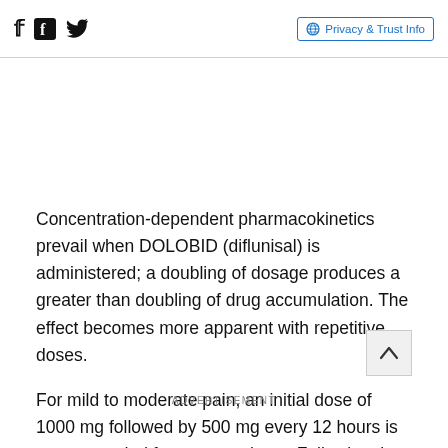Facebook Twitter | Privacy & Trust Info
Concentration-dependent pharmacokinetics prevail when DOLOBID (diflunisal) is administered; a doubling of dosage produces a greater than doubling of drug accumulation. The effect becomes more apparent with repetitive doses.
For mild to moderate pain, an initial dose of 1000 mg followed by 500 mg every 12 hours is recommended for most patients. Following the initial dose, some patients
ADVERTISEMENT